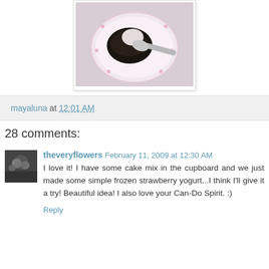[Figure (photo): A pink floral plate with dark chocolate cake/dessert and a spoon, photographed from above on a light background]
mayaluna at 12:01 AM
28 comments:
[Figure (photo): Small avatar photo of theveryflowers showing a group of people in black and white]
theveryflowers February 11, 2009 at 12:30 AM
I love it! I have some cake mix in the cupboard and we just made some simple frozen strawberry yogurt...I think I'll give it a try! Beautiful idea! I also love your Can-Do Spirit. :)
Reply